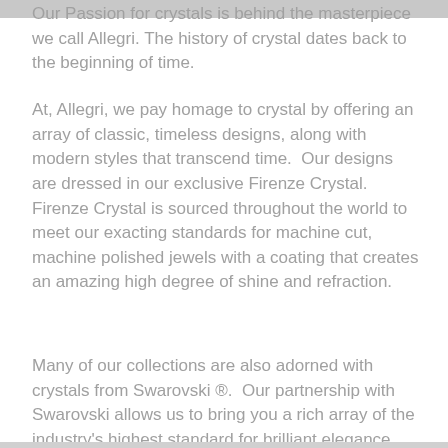Our Passion for crystals is behind the masterpiece we call Allegri. The history of crystal dates back to the beginning of time.
At, Allegri, we pay homage to crystal by offering an array of classic, timeless designs, along with modern styles that transcend time.  Our designs are dressed in our exclusive Firenze Crystal.  Firenze Crystal is sourced throughout the world to meet our exacting standards for machine cut, machine polished jewels with a coating that creates an amazing high degree of shine and refraction.
Many of our collections are also adorned with crystals from Swarovski ®.  Our partnership with Swarovski allows us to bring you a rich array of the industry's highest standard for brilliant elegance.